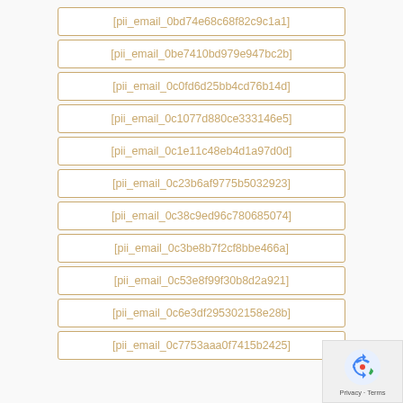[pii_email_0bd74e68c68f82c9c1a1]
[pii_email_0be7410bd979e947bc2b]
[pii_email_0c0fd6d25bb4cd76b14d]
[pii_email_0c1077d880ce333146e5]
[pii_email_0c1e11c48eb4d1a97d0d]
[pii_email_0c23b6af9775b5032923]
[pii_email_0c38c9ed96c780685074]
[pii_email_0c3be8b7f2cf8bbe466a]
[pii_email_0c53e8f99f30b8d2a921]
[pii_email_0c6e3df295302158e28b]
[pii_email_0c7753aaa0f7415b2425]